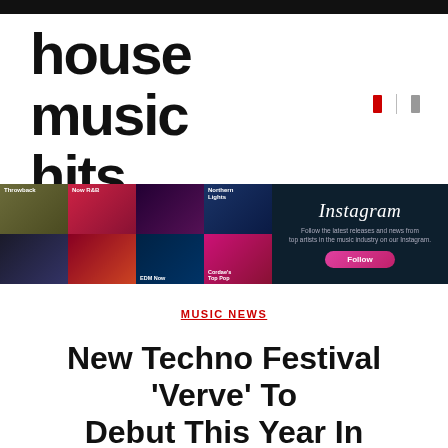house music hits
[Figure (infographic): Music streaming banner showing playlist categories (Throwback, Now R&B, Northern Lights, EDM Now, Cordae's Top Pop) alongside an Instagram promotion panel with Follow button]
MUSIC NEWS
New Techno Festival 'Verve' To Debut This Year In Switzerland